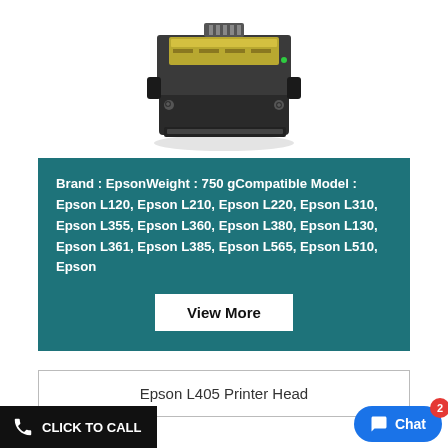[Figure (photo): Epson printer head component shown from above, metallic dark grey mechanism with exposed circuit board and connector pins]
Brand : EpsonWeight : 750 gCompatible Model : Epson L120, Epson L210, Epson L220, Epson L310, Epson L355, Epson L360, Epson L380, Epson L130, Epson L361, Epson L385, Epson L565, Epson L510, Epson
View More
Epson L405 Printer Head
CLICK TO CALL
Chat